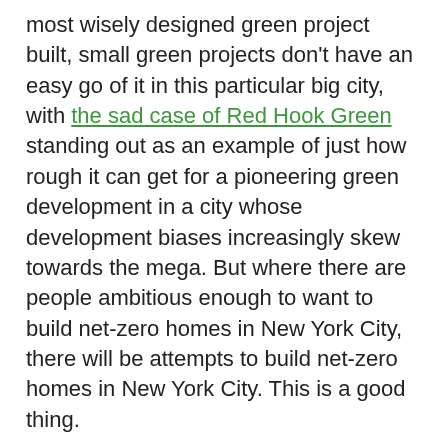most wisely designed green project built, small green projects don't have an easy go of it in this particular big city, with the sad case of Red Hook Green standing out as an example of just how rough it can get for a pioneering green development in a city whose development biases increasingly skew towards the mega. But where there are people ambitious enough to want to build net-zero homes in New York City, there will be attempts to build net-zero homes in New York City. This is a good thing.
And, more specifically, where there is a vacant lot at 61 Pitt Street, between Delancey and Rivington Streets on the Lower East Side, there will be an attempt to construct one of the greenest buildings in New York City. Lower East Side news site Lo Down NY reported that, at a recent meeting of the Lower